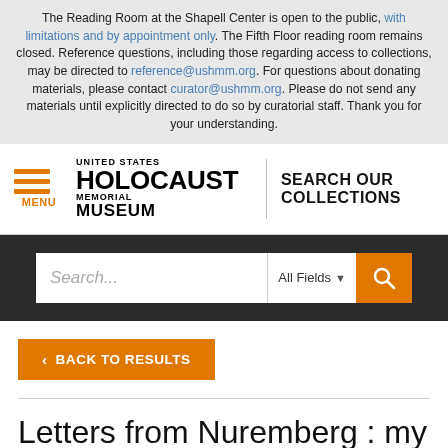The Reading Room at the Shapell Center is open to the public, with limitations and by appointment only. The Fifth Floor reading room remains closed. Reference questions, including those regarding access to collections, may be directed to reference@ushmm.org. For questions about donating materials, please contact curator@ushmm.org. Please do not send any materials until explicitly directed to do so by curatorial staff. Thank you for your understanding.
[Figure (logo): United States Holocaust Memorial Museum logo with hamburger menu icon and 'SEARCH OUR COLLECTIONS' text]
[Figure (screenshot): Search bar with 'Search...' placeholder, All Fields dropdown, and orange search button]
< BACK TO RESULTS
Letters from Nuremberg : my father's